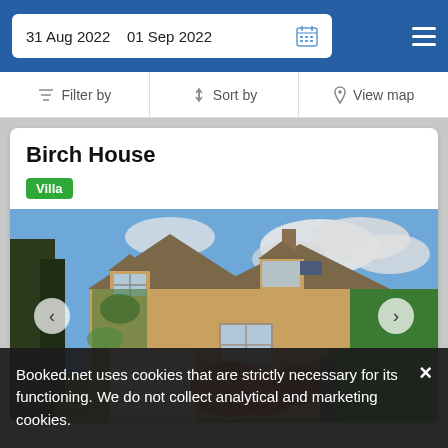31 Aug 2022  01 Sep 2022
Filter by  Sort by  View map
Birch House
Villa
[Figure (photo): Photo of Birch House — a traditional Cotswold stone villa with ivy-covered walls, garage, dormer windows, colourful garden shrubs and hedging under a partly cloudy blue sky.]
Booked.net uses cookies that are strictly necessary for its functioning. We do not collect analytical and marketing cookies.